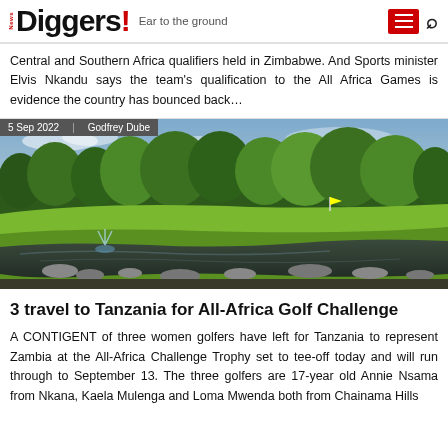News Diggers! Ear to the ground
Central and Southern Africa qualifiers held in Zimbabwe. And Sports minister Elvis Nkandu says the team's qualification to the All Africa Games is evidence the country has bounced back...
5 Sep 2022 | Godfrey Dube
[Figure (photo): Golf course with green fairway, water feature, fountain, rocks, and trees in the background under a partly cloudy sky]
3 travel to Tanzania for All-Africa Golf Challenge
A CONTIGENT of three women golfers have left for Tanzania to represent Zambia at the All-Africa Challenge Trophy set to tee-off today and will run through to September 13. The three golfers are 17-year old Annie Nsama from Nkana, Kaela Mulenga and Loma Mwenda both from Chainama Hills